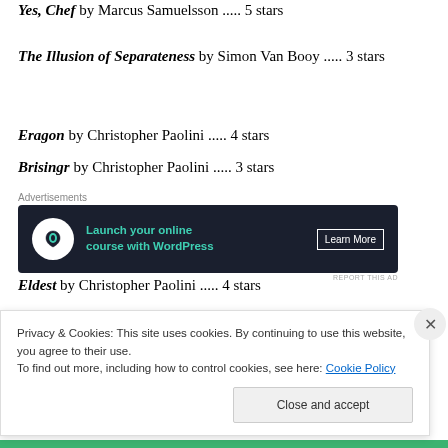Yes, Chef by Marcus Samuelsson ..... 5 stars
The Illusion of Separateness by Simon Van Booy ..... 3 stars
Eragon by Christopher Paolini ..... 4 stars
Brisingr by Christopher Paolini ..... 3 stars
[Figure (screenshot): Advertisement banner for launching online course with WordPress. Dark background with teal text reading 'Launch your online course with WordPress' and a 'Learn More' button.]
Eldest by Christopher Paolini ..... 4 stars
Privacy & Cookies: This site uses cookies. By continuing to use this website, you agree to their use.
To find out more, including how to control cookies, see here: Cookie Policy